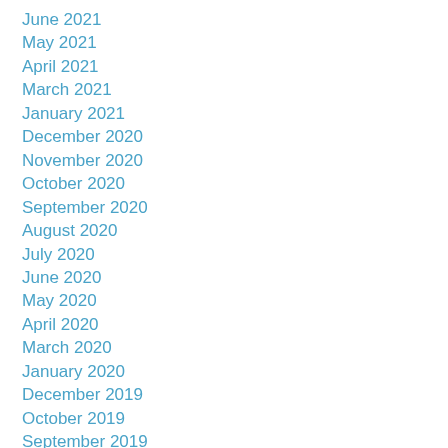June 2021
May 2021
April 2021
March 2021
January 2021
December 2020
November 2020
October 2020
September 2020
August 2020
July 2020
June 2020
May 2020
April 2020
March 2020
January 2020
December 2019
October 2019
September 2019
August 2019